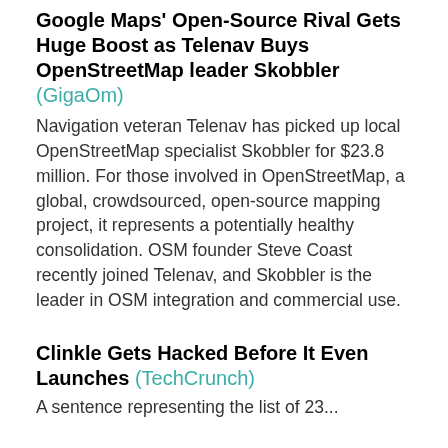Google Maps' Open-Source Rival Gets Huge Boost as Telenav Buys OpenStreetMap leader Skobbler (GigaOm)
Navigation veteran Telenav has picked up local OpenStreetMap specialist Skobbler for $23.8 million. For those involved in OpenStreetMap, a global, crowdsourced, open-source mapping project, it represents a potentially healthy consolidation. OSM founder Steve Coast recently joined Telenav, and Skobbler is the leader in OSM integration and commercial use.
Clinkle Gets Hacked Before It Even Launches (TechCrunch)
A sentence representing the list of...